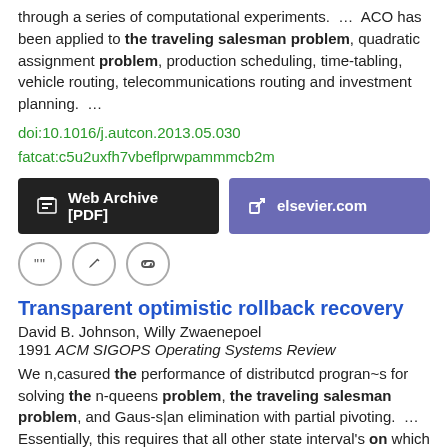through a series of computational experiments.  ...  ACO has been applied to the traveling salesman problem, quadratic assignment problem, production scheduling, time-tabling, vehicle routing, telecommunications routing and investment planning.  ...
doi:10.1016/j.autcon.2013.05.030
fatcat:c5u2uxfh7vbeflprwpammmcb2m
[Figure (other): Two buttons: 'Web Archive [PDF]' on dark background and 'elsevier.com' on purple background]
[Figure (other): Three circular icon buttons: quote, edit, link]
Transparent optimistic rollback recovery
David B. Johnson, Willy Zwaenepoel
1991 ACM SIGOPS Operating Systems Review
We n,casured the performance of distributcd progran~s for solving the n-queens problem, the traveling salesman problem, and Gaus-s|an elimination with partial pivoting.  ...  Essentially, this requires that all other state interval's on which this interval either directly or indirectly depends are recoverable after the failure.  ...
doi:10.1145/122120.122132  fatcat:nnpsbbzqfrg27gvcrr6m7pcyle
[Figure (other): Two buttons: 'Web Archive [PDF]' on dark background and 'acm.org' on purple background (partially visible)]